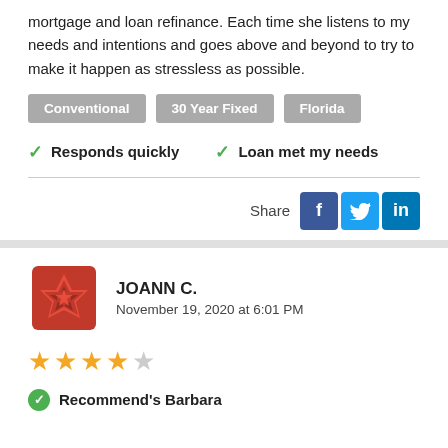mortgage and loan refinance. Each time she listens to my needs and intentions and goes above and beyond to try to make it happen as stressless as possible.
Conventional
30 Year Fixed
Florida
✓ Responds quickly   ✓ Loan met my needs
Share
JOANN C.
November 19, 2020 at 6:01 PM
★★★★☆
✓ Recommend's Barbara